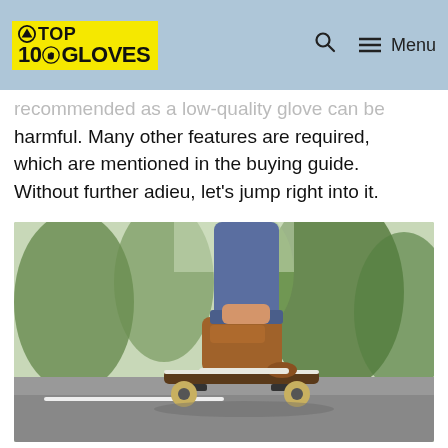TOP 10 GLOVES | Menu
recommended as a low-quality glove can be harmful. Many other features are required, which are mentioned in the buying guide. Without further adieu, let's jump right into it.
[Figure (photo): Close-up photo of a person's feet wearing brown casual shoes standing on a skateboard on a paved road, with trees in the background (bokeh effect).]